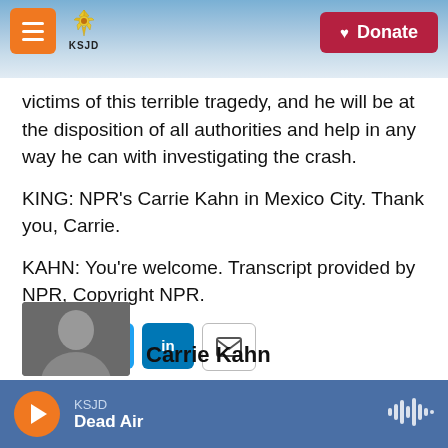KSJD | Donate
victims of this terrible tragedy, and he will be at the disposition of all authorities and help in any way he can with investigating the crash.
KING: NPR's Carrie Kahn in Mexico City. Thank you, Carrie.
KAHN: You're welcome. Transcript provided by NPR, Copyright NPR.
[Figure (infographic): Social share buttons: Facebook (blue), Twitter (blue), LinkedIn (blue), Email (white/outlined)]
[Figure (photo): Author headshot photo of Carrie Kahn]
Carrie Kahn
KSJD Dead Air